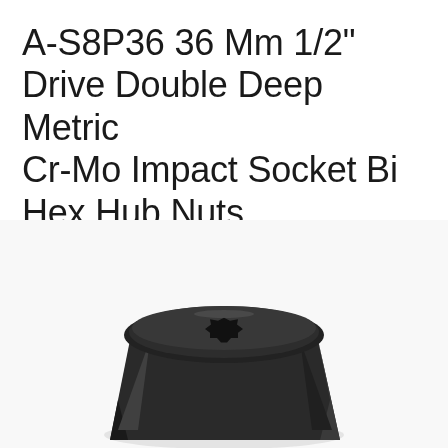A-S8P36 36 Mm 1/2" Drive Double Deep Metric Cr-Mo Impact Socket Bi Hex Hub Nuts
[Figure (photo): Close-up photo of a black chrome-molybdenum bi-hex (12-point) impact socket viewed from above, showing the deep bi-hex opening. The socket is dark/black in color with faceted sides visible at the bottom.]